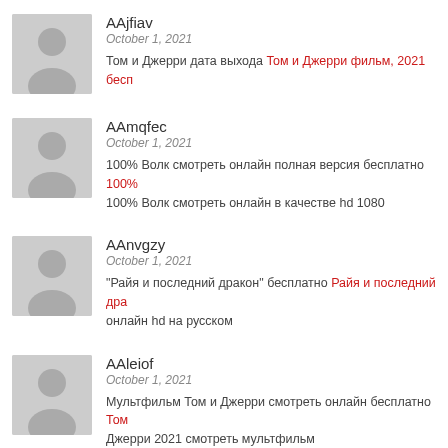AAjfiav
October 1, 2021
Том и Джерри дата выхода Том и Джерри фильм, 2021 бесп...
AAmqfec
October 1, 2021
100% Волк смотреть онлайн полная версия бесплатно 100%...
100% Волк смотреть онлайн в качестве hd 1080
AAnvgzy
October 1, 2021
"Райя и последний дракон" бесплатно Райя и последний дра...
онлайн hd на русском
AAleiof
October 1, 2021
Мультфильм Том и Джерри смотреть онлайн бесплатно Том...
Джерри 2021 смотреть мультфильм